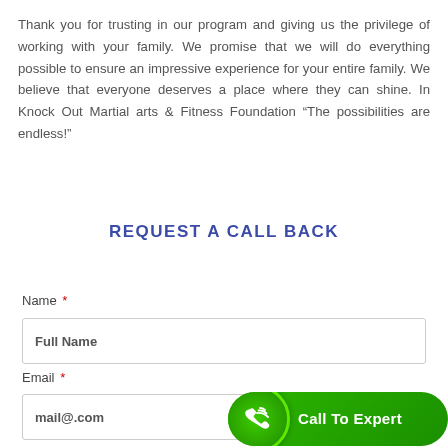Thank you for trusting in our program and giving us the privilege of working with your family. We promise that we will do everything possible to ensure an impressive experience for your entire family. We believe that everyone deserves a place where they can shine. In Knock Out Martial arts & Fitness Foundation “The possibilities are endless!”
REQUEST A CALL BACK
Name *
Full Name
Email *
mail@.com
[Figure (infographic): Green rounded button badge with phone/wifi icon and text 'Call To Expert']